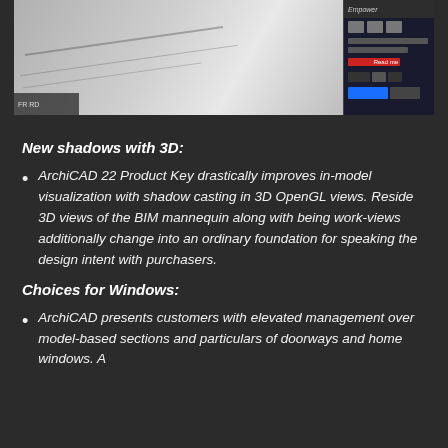[Figure (screenshot): Screenshot of ArchiCAD 3D model view showing a building/architectural design with a dark panel/toolbar overlay on the right side]
New shadows with 3D:
ArchiCAD 22 Product Key drastically improves in-model visualization with shadow casting in 3D OpenGL views. Reside 3D views of the BIM mannequin along with being work-views additionally change into an ordinary foundation for speaking the design intent with purchasers.
Choices for Windows:
ArchiCAD presents customers with elevated management over model-based sections and particulars of doorways and home windows. A